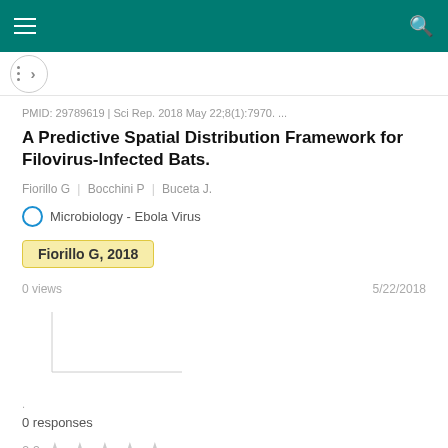A Predictive Spatial Distribution Framework for Filovirus-Infected Bats.
PMID: 29789619 | Sci Rep. 2018 May 22;8(1):7970. ...
A Predictive Spatial Distribution Framework for Filovirus-Infected Bats.
Fiorillo G | Bocchini P | Buceta J.
Microbiology - Ebola Virus
Fiorillo G, 2018
0 views
5/22/2018
[Figure (line-chart): Small empty line chart with two axes, no data plotted]
.
0 responses
0.0